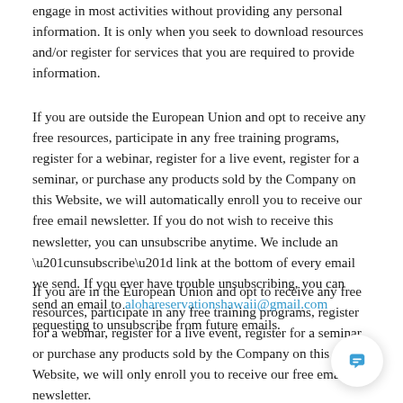engage in most activities without providing any personal information. It is only when you seek to download resources and/or register for services that you are required to provide information.
If you are outside the European Union and opt to receive any free resources, participate in any free training programs, register for a webinar, register for a live event, register for a seminar, or purchase any products sold by the Company on this Website, we will automatically enroll you to receive our free email newsletter. If you do not wish to receive this newsletter, you can unsubscribe anytime. We include an “unsubscribe” link at the bottom of every email we send. If you ever have trouble unsubscribing, you can send an email to alohareservationshawaii@gmail.com requesting to unsubscribe from future emails.
If you are in the European Union and opt to receive any free resources, participate in any free training programs, register for a webinar, register for a live event, register for a seminar, or purchase any products sold by the Company on this Website, we will only enroll you to receive our free email newsletter. If you do not wish to receive this
[Figure (other): Chat widget button in the bottom right corner showing a speech bubble icon]